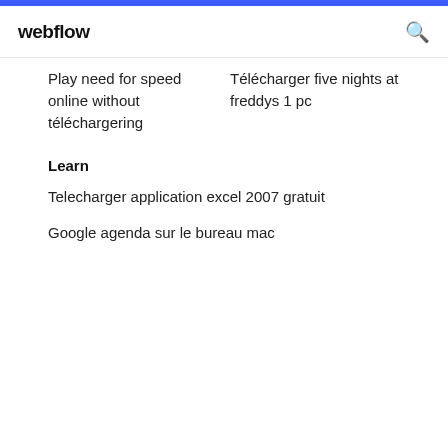webflow
Play need for speed online without téléchargering
Télécharger five nights at freddys 1 pc
Learn
Telecharger application excel 2007 gratuit
Google agenda sur le bureau mac